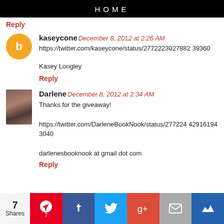HOME
Reply
kaseycone December 8, 2012 at 2:26 AM
https://twitter.com/kaseycone/status/27722223027882 39360

Kasey Longley
Reply
Darlene December 8, 2012 at 2:34 AM
Thanks for the giveaway!

https://twitter.com/DarleneBookNook/status/277224 429161943040

darlenesbooknook at gmail dot com
Reply
7 Shares | Pinterest | Facebook | Twitter | Google+ | Email | Crown